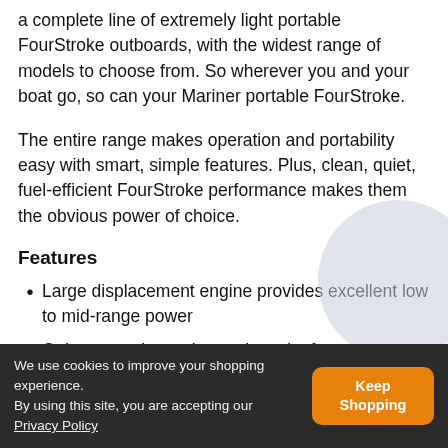a complete line of extremely light portable FourStroke outboards, with the widest range of models to choose from. So wherever you and your boat go, so can your Mariner portable FourStroke.
The entire range makes operation and portability easy with smart, simple features. Plus, clean, quiet, fuel-efficient FourStroke performance makes them the obvious power of choice.
Features
Large displacement engine provides excellent low to mid-range power
Quiet, smooth-running and smoke free operation
noise underwater
We use cookies to improve your shopping experience. By using this site, you are accepting our Privacy Policy  Keep Shopping